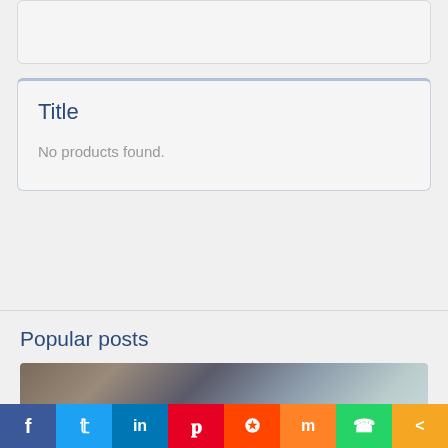[Figure (other): Top card placeholder area (gray rounded rectangle)]
Title
No products found.
Popular posts
[Figure (photo): Photo of a plumber or technician working on sink/faucet fixture]
[Figure (other): Social share bar with icons: Facebook, Twitter, LinkedIn, Pinterest, Reddit, Mix, WhatsApp, Share]